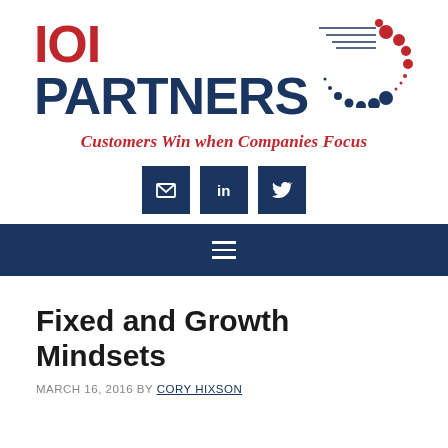[Figure (logo): IOI Partners logo with text 'IOI PARTNERS' in red and dark blue, and a circular dot pattern graphic in red and dark navy to the right, with speed lines above.]
Customers Win when Companies Focus
[Figure (infographic): Three social media icon buttons: email envelope, LinkedIn 'in', and Twitter bird, all in dark navy blue square buttons.]
[Figure (other): Dark navy navigation bar with a hamburger menu icon (three horizontal lines) centered.]
Fixed and Growth Mindsets
MARCH 16, 2016 BY CORY HIXSON